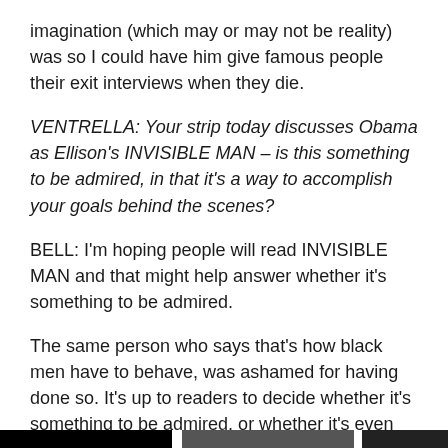imagination (which may or may not be reality) was so I could have him give famous people their exit interviews when they die.
VENTRELLA: Your strip today discusses Obama as Ellison's INVISIBLE MAN – is this something to be admired, in that it's a way to accomplish your goals behind the scenes?
BELL: I'm hoping people will read INVISIBLE MAN and that might help answer whether it's something to be admired.
The same person who says that's how black men have to behave, was ashamed for having done so. It's up to readers to decide whether it's something to be admired, or whether it's even really necessary in 2011.